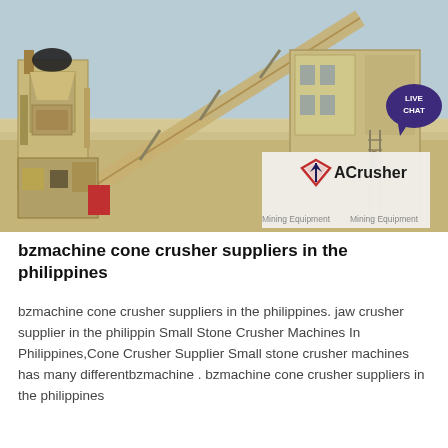[Figure (photo): Photograph of a large mining/crushing equipment installation in an arid desert environment, with conveyor belts, crushers, and scaffolding. An ACrusher Mining Equipment logo overlay appears in the lower right of the image. A 'LIVE CHAT' speech bubble badge appears in the upper right corner of the page.]
bzmachine cone crusher suppliers in the philippines
bzmachine cone crusher suppliers in the philippines. jaw crusher supplier in the philippin Small Stone Crusher Machines In Philippines,Cone Crusher Supplier Small stone crusher machines has many differentbzmachine . bzmachine cone crusher suppliers in the philippines